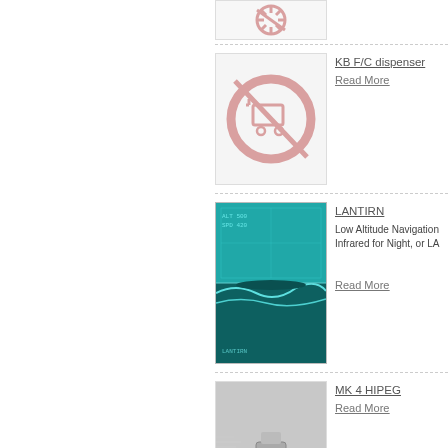[Figure (photo): Partial thumbnail at top, no image placeholder icon]
KB F/C dispenser
Read More
[Figure (photo): No image placeholder icon for KB F/C dispenser]
LANTIRN
Low Altitude Navigation Infrared for Night, or LA
Read More
[Figure (photo): LANTIRN infrared camera view showing sea/terrain in teal tones]
MK 4 HIPEG
Read More
[Figure (photo): Black and white photo of MK 4 HIPEG gun pod on aircraft]
MXU-648 Travel pod
Read More
[Figure (photo): No image placeholder icon for MXU-648 Travel pod]